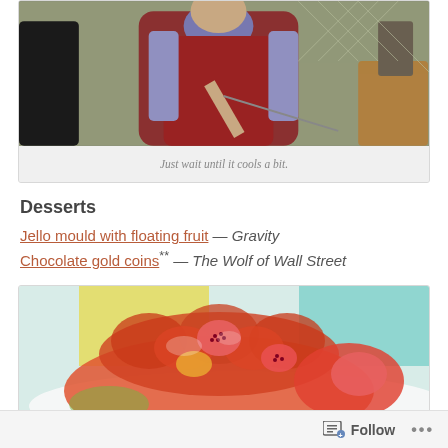[Figure (photo): A man in a red vest leaning over a table, holding chopsticks or skewers, in an indoor domestic setting — movie still]
Just wait until it cools a bit.
Desserts
Jello mould with floating fruit — Gravity
Chocolate gold coins** — The Wolf of Wall Street
[Figure (photo): Close-up of a red-orange jello mould with embedded fruit pieces, sitting on a white surface]
Follow ...